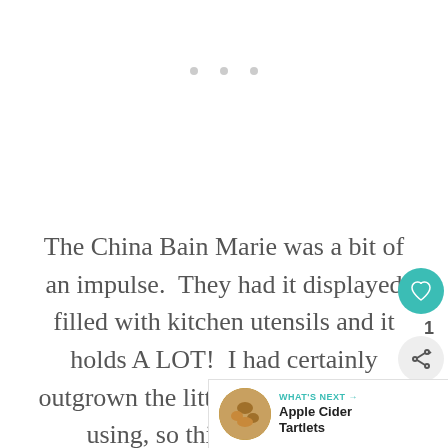[Figure (other): Three small decorative dots centered near the top of the page, used as a section divider]
The China Bain Marie was a bit of an impulse.  They had it displayed filled with kitchen utensils and it holds A LOT!  I had certainly outgrown the little crock I had been using, so this made sense.  Besides...it looks good too.
[Figure (other): Floating UI overlay with a teal heart-shaped like/save button, a count badge showing '1', and a share button (circular arrow icon)]
[Figure (other): What's Next banner in the bottom-right corner showing a circular thumbnail image of Apple Cider Tartlets with a teal arrow label reading 'WHAT'S NEXT →' and bold text 'Apple Cider Tartlets']